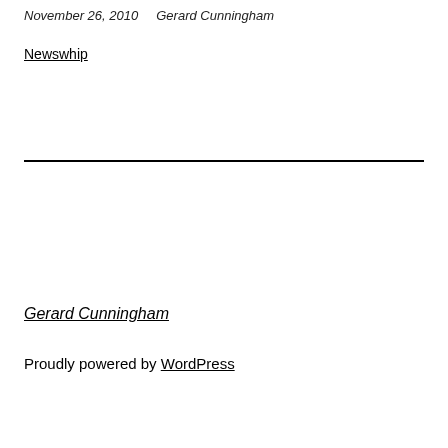November 26, 2010   Gerard Cunningham
Newswhip
Gerard Cunningham
Proudly powered by WordPress